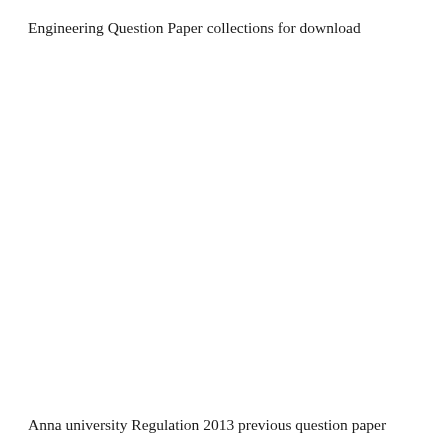Engineering Question Paper collections for download
Anna university Regulation 2013 previous question paper